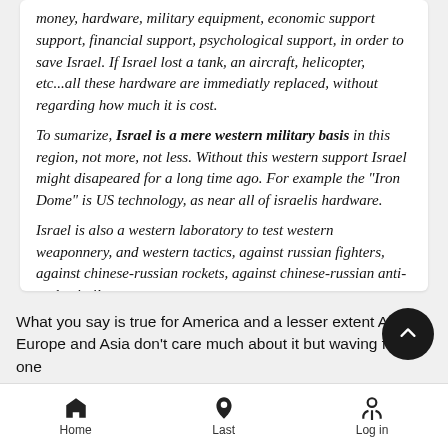money, hardware, military equipment, economic support support, financial support, psychological support, in order to save Israel. If Israel lost a tank, an aircraft, helicopter, etc...all these hardware are immediatly replaced, without regarding how much it is cost. To sumarize, Israel is a mere western military basis in this region, not more, not less. Without this western support Israel might disapeared for a long time ago. For example the "Iron Dome" is US technology, as near all of israelis hardware. Israel is also a western laboratory to test western weaponnery, and western tactics, against russian fighters, against chinese-russian rockets, against chinese-russian anti-tank missiles.
What you say is true for America and a lesser extent Austra Europe and Asia don't care much about it but waving fists at one side or the other. To some extent Israel is the 51st US state...
Home   Last   Log in